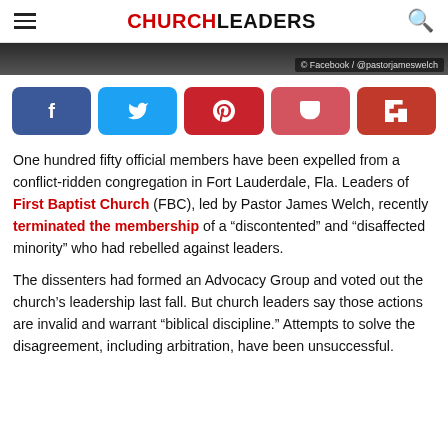CHURCHLEADERS
[Figure (photo): Partial image strip at top, dark/blurred, with credit text: Facebook / @pastorjameswelch]
[Figure (infographic): Social share buttons row: Facebook (blue), Twitter (cyan), Pinterest (red), Pocket (pink-red), Flipboard (dark red)]
One hundred fifty official members have been expelled from a conflict-ridden congregation in Fort Lauderdale, Fla. Leaders of First Baptist Church (FBC), led by Pastor James Welch, recently terminated the membership of a “discontented” and “disaffected minority” who had rebelled against leaders.
The dissenters had formed an Advocacy Group and voted out the church’s leadership last fall. But church leaders say those actions are invalid and warrant “biblical discipline.” Attempts to solve the disagreement, including arbitration, have been unsuccessful.